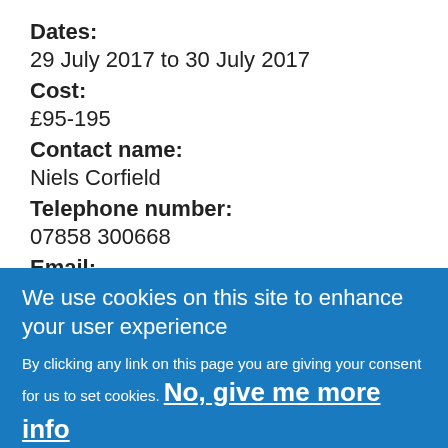Dates:
29 July 2017 to 30 July 2017
Cost:
£95-195
Contact name:
Niels Corfield
Telephone number:
07858 300668
Email:
Contact person by email
We use cookies on this site to enhance your user experience
By clicking any link on this page you are giving your consent for us to set cookies. No, give me more info
OK, I agree  No, thanks